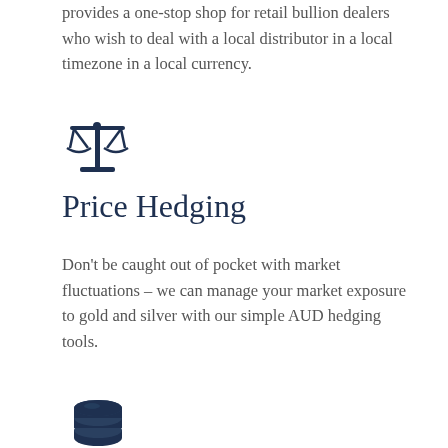provides a one-stop shop for retail bullion dealers who wish to deal with a local distributor in a local timezone in a local currency.
[Figure (illustration): Scales of justice icon in dark navy blue]
Price Hedging
Don't be caught out of pocket with market fluctuations – we can manage your market exposure to gold and silver with our simple AUD hedging tools.
[Figure (illustration): Stack of coins icon in dark navy blue]